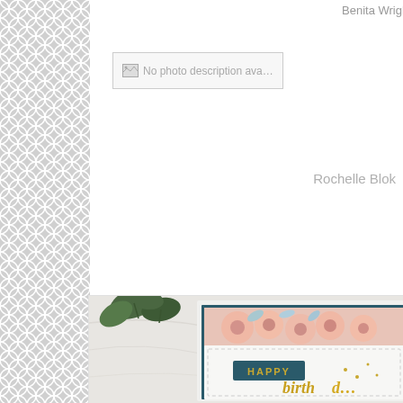Benita Wright-Smee
[Figure (other): Broken image placeholder: No photo description available]
Rochelle Blok
[Figure (photo): Handmade birthday card with pink flowers, teal glitter cardstock background, stitched white panel, teal 'HAPPY' label, and gold script 'birthday' text, photographed on marble surface with green plant foliage]